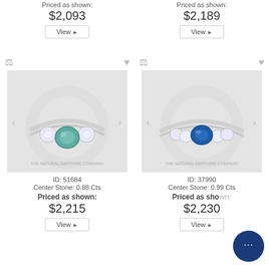Priced as shown:
$2,093
View ▶
Priced as shown:
$2,189
View ▶
[Figure (photo): Ring with teal/green cushion center sapphire flanked by two round diamonds, silver band. Watermark: THE NATURAL SAPPHIRE COMPANY. ID: 51684]
[Figure (photo): Ring with blue oval center sapphire flanked by round diamonds on each side, silver band. Watermark: THE NATURAL SAPPHIRE COMPANY. ID: 37990]
ID: 51684
Center Stone: 0.88 Cts
Priced as shown:
$2,215
View ▶
ID: 37990
Center Stone: 0.99 Cts
Priced as sho...
$2,230
View ▶